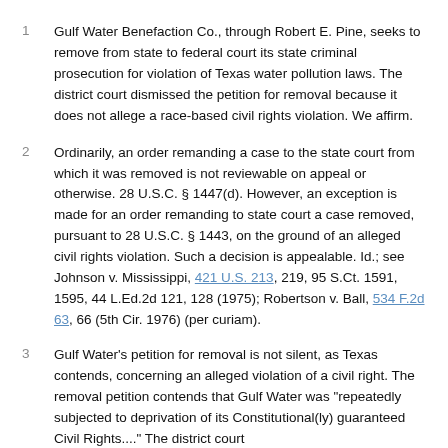Gulf Water Benefaction Co., through Robert E. Pine, seeks to remove from state to federal court its state criminal prosecution for violation of Texas water pollution laws. The district court dismissed the petition for removal because it does not allege a race-based civil rights violation. We affirm.
Ordinarily, an order remanding a case to the state court from which it was removed is not reviewable on appeal or otherwise. 28 U.S.C. § 1447(d). However, an exception is made for an order remanding to state court a case removed, pursuant to 28 U.S.C. § 1443, on the ground of an alleged civil rights violation. Such a decision is appealable. Id.; see Johnson v. Mississippi, 421 U.S. 213, 219, 95 S.Ct. 1591, 1595, 44 L.Ed.2d 121, 128 (1975); Robertson v. Ball, 534 F.2d 63, 66 (5th Cir. 1976) (per curiam).
Gulf Water's petition for removal is not silent, as Texas contends, concerning an alleged violation of a civil right. The removal petition contends that Gulf Water was "repeatedly subjected to deprivation of its Constitutional(ly) guaranteed Civil Rights...." The district court